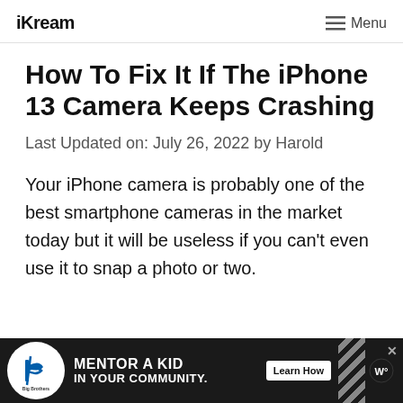iKream   ☰ Menu
How To Fix It If The iPhone 13 Camera Keeps Crashing
Last Updated on: July 26, 2022 by Harold
Your iPhone camera is probably one of the best smartphone cameras in the market today but it will be useless if you can't even use it to snap a photo or two.
[Figure (infographic): Advertisement banner: Big Brothers Big Sisters logo, 'MENTOR A KID IN YOUR COMMUNITY.' with a 'Learn How' button, diagonal stripe graphic, and Wonderful logo]